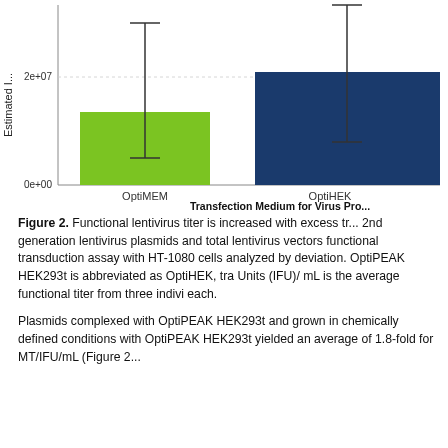[Figure (bar-chart): Estimated functional titer vs Transfection Medium]
Figure 2. Functional lentivirus titer is increased with excess transfection reagent. 2nd generation lentivirus plasmids and total lentivirus vectors were used in a functional transduction assay with HT-1080 cells analyzed by standard deviation. OptiPEAK HEK293t is abbreviated as OptiHEK, transducing Units (IFU)/ mL is the average functional titer from three individual experiments each.
Plasmids complexed with OptiPEAK HEK293t and grown in chemically defined conditions with OptiPEAK HEK293t yielded an average of 1.8-fold for MPEG... (Figure 2...